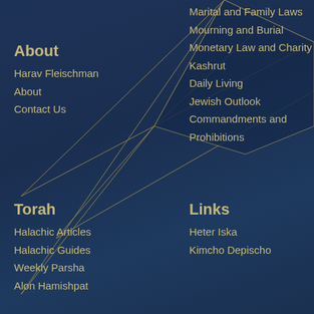[Figure (illustration): Dark navy blue background with geometric gold/yellow thin lines forming triangular/polygonal shapes in the upper-left to center area of the page.]
About
Harav Fleischman
About
Contact Us
Marital and Family Laws
Mourning and Burial
Monetary Law and Charity
Kashrut
Daily Living
Jewish Outlook
Commandments and Prohibitions
Torah
Halachic Articles
Halachic Guides
Weekly Parsha
Alon Hamishpat
Links
Heter Iska
Kimcho Depischo